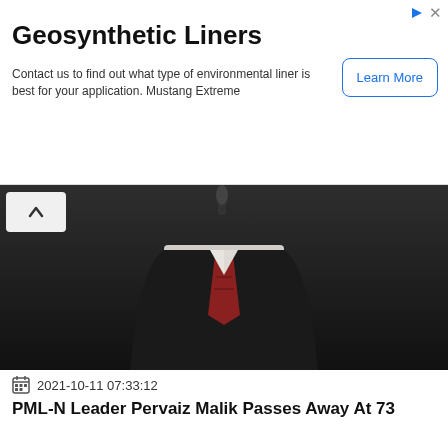[Figure (other): Advertisement banner for Geosynthetic Liners by Mustang Extreme with a Learn More button]
[Figure (photo): A man in a dark suit and striped tie standing at a microphone, upper body visible, dark background]
2021-10-11 07:33:12
PML-N Leader Pervaiz Malik Passes Away At 73
[Figure (photo): Group of people outdoors wearing teal/cyan face masks, one person holds a red pole, trees visible in background, red circle icon bottom right corner]